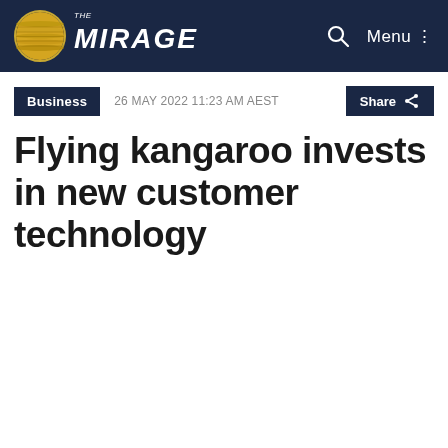THE MIRAGE — Menu
Business  26 MAY 2022 11:23 AM AEST  Share
Flying kangaroo invests in new customer technology